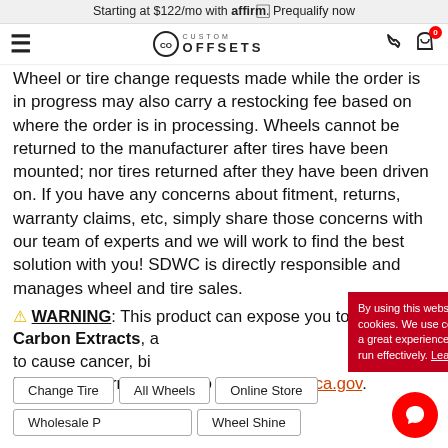Starting at $122/mo with affirm. Prequalify now
[Figure (screenshot): Custom Offsets navigation bar with hamburger menu, logo, phone icon, and cart with 0 items]
Wheel or tire change requests made while the order is in progress may also carry a restocking fee based on where the order is in processing. Wheels cannot be returned to the manufacturer after tires have been mounted; nor tires returned after they have been driven on. If you have any concerns about fitment, returns, warranty claims, etc, simply share those concerns with our team of experts and we will work to find the best solution with you! SDWC is directly responsible and manages wheel and tire sales.
⚠ WARNING: This product can expose you to Black Carbon Extracts, … to cause cancer, bi… For more information, go to p65warnings.ca.gov.
By using this website, you agree to our use of cookies. We use cookies to provide you with a great experience and to help our website run effectively. Learn more
Change Tire
All Wheels
Online Store
Wholesale P…
Wheel Shine